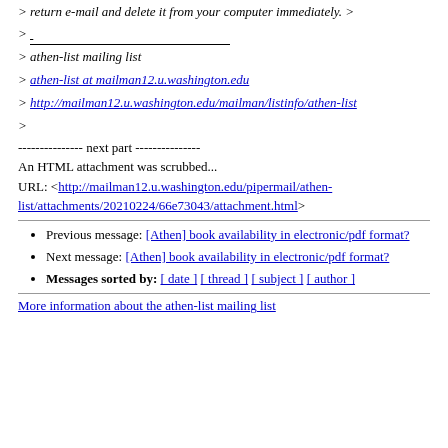> return e-mail and delete it from your computer immediately. >
>
> athen-list mailing list
> athen-list at mailman12.u.washington.edu
> http://mailman12.u.washington.edu/mailman/listinfo/athen-list
>
--------------- next part ---------------
An HTML attachment was scrubbed...
URL: <http://mailman12.u.washington.edu/pipermail/athen-list/attachments/20210224/66e73043/attachment.html>
Previous message: [Athen] book availability in electronic/pdf format?
Next message: [Athen] book availability in electronic/pdf format?
Messages sorted by: [ date ] [ thread ] [ subject ] [ author ]
More information about the athen-list mailing list